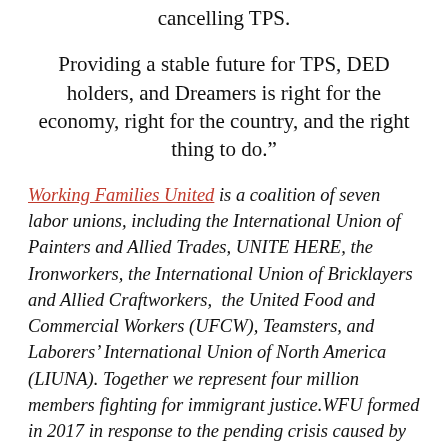cancelling TPS.
Providing a stable future for TPS, DED holders, and Dreamers is right for the economy, right for the country, and the right thing to do.”
Working Families United is a coalition of seven labor unions, including the International Union of Painters and Allied Trades, UNITE HERE, the Ironworkers, the International Union of Bricklayers and Allied Craftworkers,  the United Food and Commercial Workers (UFCW), Teamsters, and Laborers’ International Union of North America (LIUNA). Together we represent four million members fighting for immigrant justice.WFU formed in 2017 in response to the pending crisis caused by